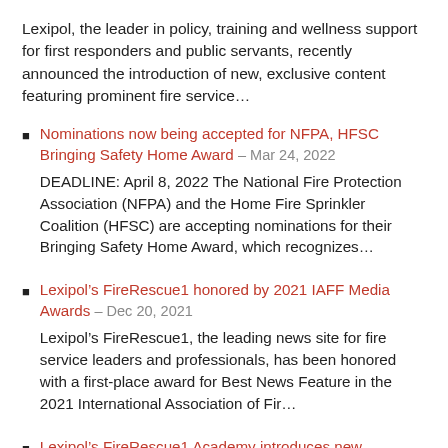Lexipol, the leader in policy, training and wellness support for first responders and public servants, recently announced the introduction of new, exclusive content featuring prominent fire service…
Nominations now being accepted for NFPA, HFSC Bringing Safety Home Award – Mar 24, 2022
DEADLINE: April 8, 2022 The National Fire Protection Association (NFPA) and the Home Fire Sprinkler Coalition (HFSC) are accepting nominations for their Bringing Safety Home Award, which recognizes…
Lexipol's FireRescue1 honored by 2021 IAFF Media Awards – Dec 20, 2021
Lexipol's FireRescue1, the leading news site for fire service leaders and professionals, has been honored with a first-place award for Best News Feature in the 2021 International Association of Fir…
Lexipol's FireRescue1 Academy introduces new